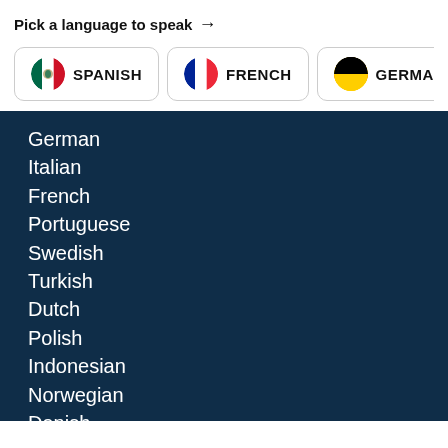Pick a language to speak →
[Figure (infographic): Four language selection buttons with flags: SPANISH (Mexico flag), FRENCH (France flag), GERMAN (Germany flag), ITALIAN (Italy flag, partially visible)]
German
Italian
French
Portuguese
Swedish
Turkish
Dutch
Polish
Indonesian
Norwegian
Danish
Russian
EVEN MORE BABBEL